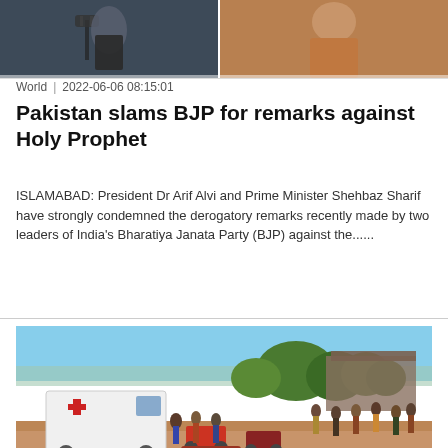[Figure (photo): Two cropped photos side by side: left shows a person in a dark vest at a microphone podium, right shows a person in a light brown shirt]
World  |  2022-06-06 08:15:01
Pakistan slams BJP for remarks against Holy Prophet
ISLAMABAD: President Dr Arif Alvi and Prime Minister Shehbaz Sharif have strongly condemned the derogatory remarks recently made by two leaders of India's Bharatiya Janata Party (BJP) against the......
[Figure (photo): Outdoor scene showing an ambulance with a red cross, motorcycles, and a crowd of people gathered on a dirt road near trees and buildings]
World  |  2022-06-06 08:05:09
50 worshippers shot dead in